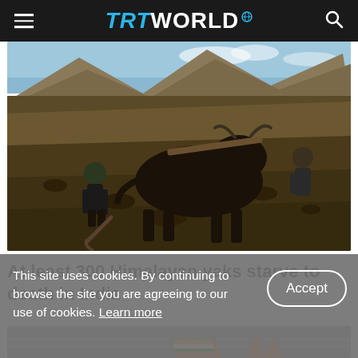TRT WORLD
[Figure (photo): A farmer with a yak plowing dry, rocky land in a mountainous Himalayan region under a blue sky]
At least 300 Himalayan yaks starve to death in India
[Figure (photo): Partial view of orange traffic cones on a road surface]
This site uses cookies. By continuing to browse the site you are agreeing to our use of cookies. Learn more